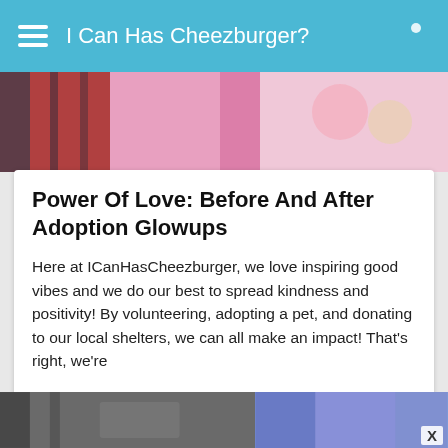I Can Has Cheezburger?
[Figure (photo): Partial image strip showing colorful photos of pets and people]
Power Of Love: Before And After Adoption Glowups
Here at ICanHasCheezburger, we love inspiring good vibes and we do our best to spread kindness and positivity! By volunteering, adopting a pet, and donating to our local shelters, we can all make an impact! That's right, we're
View List
86
1
[Figure (photo): Bottom image strip partially visible — two images side by side, left appears grayscale/dark, right has blue/purple tones. X close button visible on the right.]